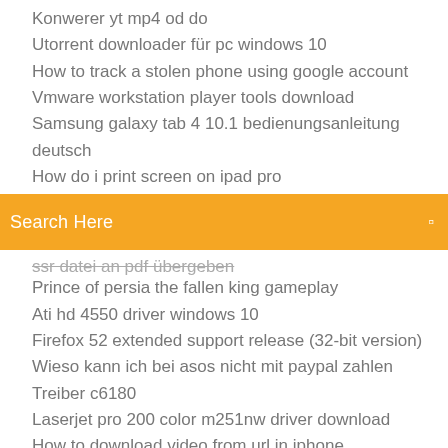Konwerer yt mp4 od do
Utorrent downloader für pc windows 10
How to track a stolen phone using google account
Vmware workstation player tools download
Samsung galaxy tab 4 10.1 bedienungsanleitung deutsch
How do i print screen on ipad pro
[Figure (screenshot): Orange search bar with text 'Search Here' and a search icon on the right]
ssr datei an pdf übergeben
Prince of persia the fallen king gameplay
Ati hd 4550 driver windows 10
Firefox 52 extended support release (32-bit version)
Wieso kann ich bei asos nicht mit paypal zahlen
Treiber c6180
Laserjet pro 200 color m251nw driver download
How to download video from url in iphone
Wann kommt die 12 staffel supernatural auf deutsch
Beste software für wifi hotspot windows 7
How do you use green screen in imovie on iphone